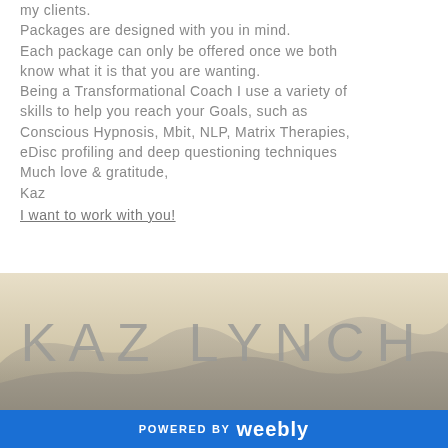my clients. Packages are designed with you in mind. Each package can only be offered once we both know what it is that you are wanting. Being a Transformational Coach I use a variety of skills to help you reach your Goals, such as Conscious Hypnosis, Mbit, NLP, Matrix Therapies, eDisc profiling and deep questioning techniques Much love & gratitude, Kaz
I want to work with you!
[Figure (other): Footer section with sandy/desert landscape background showing mountains in muted beige/tan tones with large 'KAZ LYNCH' text overlay in light gray, and a blue 'POWERED BY weebly' bar at the bottom]